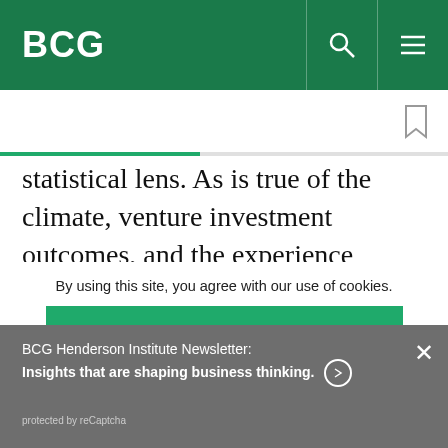BCG
statistical lens. As is true of the climate, venture investment outcomes, and the experience curve,
BCG Henderson Institute Newsletter: Insights that are shaping business thinking. ➜
protected by reCaptcha
By using this site, you agree with our use of cookies.
I consent to cookies
Want to know more?
Read our Cookie Policy